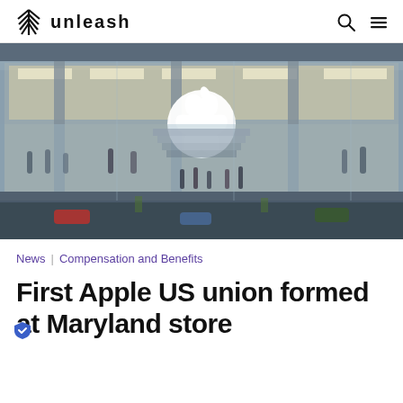UNLEASH
[Figure (photo): Exterior view of an Apple retail store with large glass facade, multiple floors visible, people inside and outside, Apple logo prominently displayed on the glass.]
News | Compensation and Benefits
First Apple US union formed at Maryland store